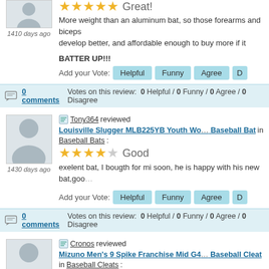[Figure (other): User avatar placeholder (gray silhouette)]
1410 days ago
Great!
More weight than an aluminum bat, so those forearms and biceps develop better, and affordable enough to buy more if it actually bre... several of these for the price of most respectable aluminum bats...
BATTER UP!!!
Add your Vote: Helpful Funny Agree D
0 comments   Votes on this review: 0 Helpful / 0 Funny / 0 Agree / 0 Disagree
Tony364 reviewed Louisville Slugger MLB225YB Youth Wo... Baseball Bat in Baseball Bats:
[Figure (other): User avatar placeholder (gray silhouette)]
1430 days ago
Good
exelent bat, I bougth for mi soon, he is happy with his new bat,goo... products, he is hitting harder than a aluminum bat, hits the ball far...
Add your Vote: Helpful Funny Agree D
0 comments   Votes on this review: 0 Helpful / 0 Funny / 0 Agree / 0 Disagree
Cronos reviewed Mizuno Men's 9 Spike Franchise Mid G4... Baseball Cleat in Baseball Cleats: